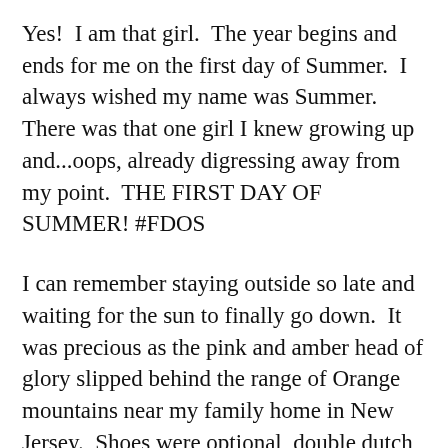Yes!  I am that girl.  The year begins and ends for me on the first day of Summer.  I always wished my name was Summer.  There was that one girl I knew growing up and...oops, already digressing away from my point.  THE FIRST DAY OF SUMMER! #FDOS
I can remember staying outside so late and waiting for the sun to finally go down.  It was precious as the pink and amber head of glory slipped behind the range of Orange mountains near my family home in New Jersey.  Shoes were optional, double dutch and hopscotch were desirable and ice-cream from the neighborhood